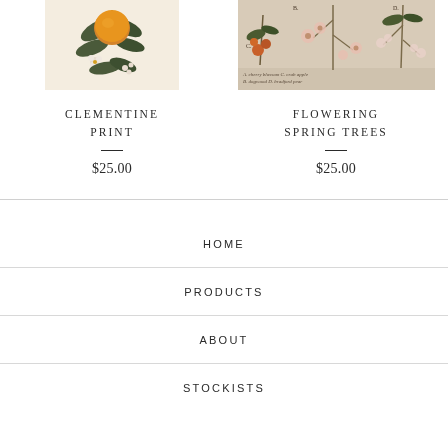[Figure (illustration): Botanical illustration of a clementine/orange fruit with leaves and small white flowers on a cream background]
[Figure (illustration): Vintage botanical illustration of flowering spring trees with handwritten labels: A. cherry blossom, B. dogwood, C. crab apple, D. Bradford pear, on a tan/beige background]
CLEMENTINE PRINT
$25.00
FLOWERING SPRING TREES
$25.00
HOME
PRODUCTS
ABOUT
STOCKISTS